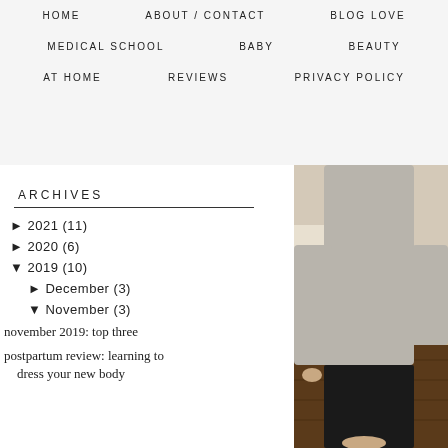HOME   ABOUT / CONTACT   BLOG LOVE   MEDICAL SCHOOL   BABY   BEAUTY   AT HOME   REVIEWS   PRIVACY POLICY
ARCHIVES
► 2021 (11)
► 2020 (6)
▼ 2019 (10)
► December (3)
▼ November (3)
november 2019: top three
postpartum review: learning to dress your new body
[Figure (photo): A person wearing a light grey long-sleeve top and dark pants/leggings, standing on a hardwood floor next to a bed. Only the torso and legs are visible, cropped close.]